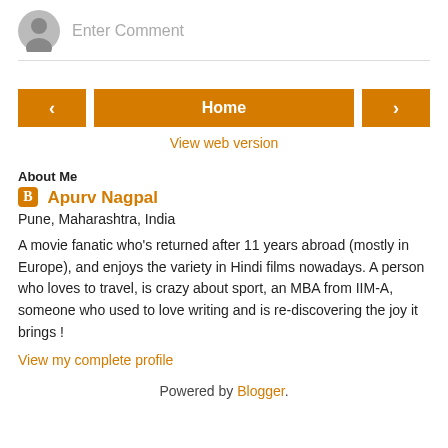[Figure (illustration): Gray user avatar icon circle with comment input box placeholder text 'Enter Comment' and a horizontal divider line below]
[Figure (illustration): Navigation row with three orange buttons: left arrow, Home (center), right arrow]
View web version
About Me
Apurv Nagpal
Pune, Maharashtra, India
A movie fanatic who's returned after 11 years abroad (mostly in Europe), and enjoys the variety in Hindi films nowadays. A person who loves to travel, is crazy about sport, an MBA from IIM-A, someone who used to love writing and is re-discovering the joy it brings !
View my complete profile
Powered by Blogger.